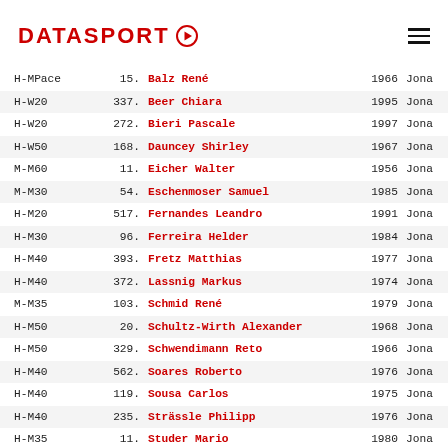[Figure (logo): DATASPORT logo in red with play button icon]
| Category | Rank | Name | Year | City |
| --- | --- | --- | --- | --- |
| H-MPace | 15. | Balz René | 1966 | Jona |
| H-W20 | 337. | Beer Chiara | 1995 | Jona |
| H-W20 | 272. | Bieri Pascale | 1997 | Jona |
| H-W50 | 168. | Dauncey Shirley | 1967 | Jona |
| M-M60 | 11. | Eicher Walter | 1956 | Jona |
| M-M30 | 54. | Eschenmoser Samuel | 1985 | Jona |
| H-M20 | 517. | Fernandes Leandro | 1991 | Jona |
| H-M30 | 96. | Ferreira Helder | 1984 | Jona |
| H-M40 | 393. | Fretz Matthias | 1977 | Jona |
| H-M40 | 372. | Lassnig Markus | 1974 | Jona |
| M-M35 | 103. | Schmid René | 1979 | Jona |
| H-M50 | 20. | Schultz-Wirth Alexander | 1968 | Jona |
| H-M50 | 329. | Schwendimann Reto | 1966 | Jona |
| H-M40 | 562. | Soares Roberto | 1976 | Jona |
| H-M40 | 119. | Sousa Carlos | 1975 | Jona |
| H-M40 | 235. | Strässle Philipp | 1976 | Jona |
| H-M35 | 11. | Studer Mario | 1980 | Jona |
| H-W50 | 17. | Vangehr Nadia | 1966 | Jona |
| H-M50 | 449. | Wahrenbarger Christoph | 1966 | Jona |